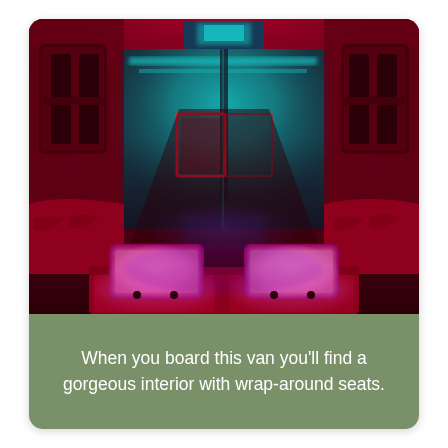[Figure (photo): Interior of a party van/limo bus glowing with red, pink, purple, and teal LED lighting. Shows wrap-around red leather seats, illuminated pink/magenta floor panels, and a mirrored bar area at the back with teal/cyan neon lighting. The ceiling has red ambient light and the overall atmosphere is nightclub-like.]
When you board this van you'll find a gorgeous interior with wrap-around seats.